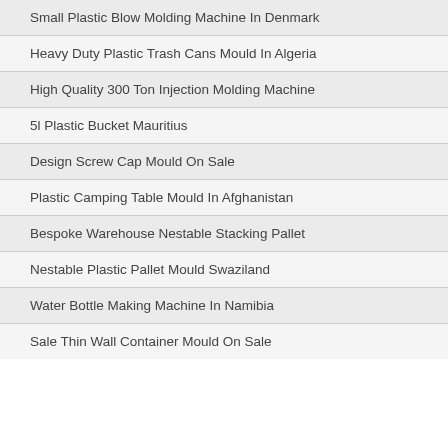Small Plastic Blow Molding Machine In Denmark
Heavy Duty Plastic Trash Cans Mould In Algeria
High Quality 300 Ton Injection Molding Machine
5l Plastic Bucket Mauritius
Design Screw Cap Mould On Sale
Plastic Camping Table Mould In Afghanistan
Bespoke Warehouse Nestable Stacking Pallet
Nestable Plastic Pallet Mould Swaziland
Water Bottle Making Machine In Namibia
Sale Thin Wall Container Mould On Sale